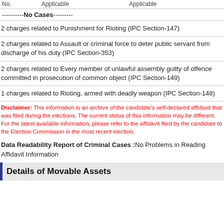| No. | Applicable | Applicable |
| --- | --- | --- |
----------No Cases---------
2 charges related to Punishment for Rioting (IPC Section-147)
2 charges related to Assault or criminal force to deter public servant from discharge of his duty (IPC Section-353)
2 charges related to Every member of unlawful assembly guilty of offence committed in prosecution of common object (IPC Section-149)
1 charges related to Rioting, armed with deadly weapon (IPC Section-148)
Disclaimer: This information is an archive of the candidate's self-declared affidavit that was filed during the elections. The current status of this information may be different. For the latest available information, please refer to the affidavit filed by the candidate to the Election Commission in the most recent election.
Data Readability Report of Criminal Cases :No Problems in Reading Affidavit Information
Details of Movable Assets